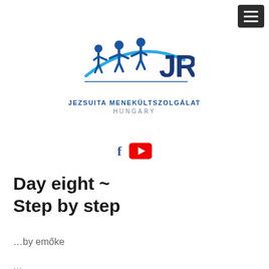[Figure (logo): JRS (Jesuit Refugee Service) Hungary logo with two figures and arc, blue tones, with text JEZSUITA MENEKÜLTSZOLGÁLAT HUNGARY]
[Figure (infographic): Social media icons: Facebook f icon in blue and YouTube play button icon in red]
Day eight ~ Step by step
…by emőke
…